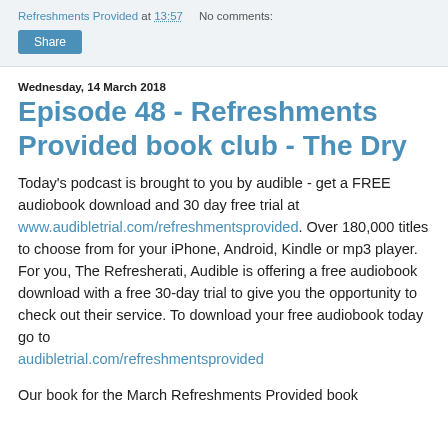Refreshments Provided at 13:57   No comments:
Share
Wednesday, 14 March 2018
Episode 48 - Refreshments Provided book club - The Dry
Today's podcast is brought to you by audible - get a FREE audiobook download and 30 day free trial at www.audibletrial.com/refreshmentsprovided. Over 180,000 titles to choose from for your iPhone, Android, Kindle or mp3 player. For you, The Refresherati, Audible is offering a free audiobook download with a free 30-day trial to give you the opportunity to check out their service. To download your free audiobook today go to audibletrial.com/refreshmentsprovided
Our book for the March Refreshments Provided book